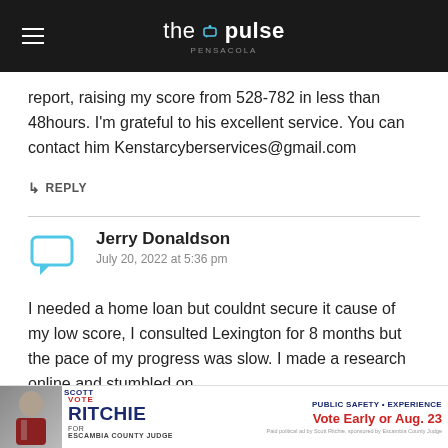the pulse pensacola
report, raising my score from 528-782 in less than 48hours. I'm grateful to his excellent service. You can contact him Kenstarcyberservices@gmail.com
↳ REPLY
Jerry Donaldson
July 20, 2022 at 5:36 pm
I needed a home loan but couldnt secure it cause of my low score, I consulted Lexington for 8 months but the pace of my progress was slow. I made a research online and stumbled on
[Figure (infographic): Vote Scott Ritchie for Escambia County Judge advertisement banner - Public Safety • Experience, Vote Early or Aug. 23]